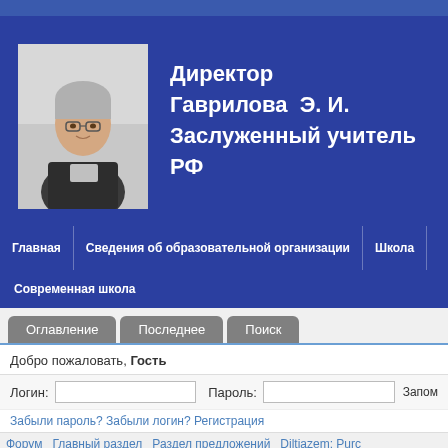[Figure (photo): Photo of a woman with short gray hair and glasses, seated at a desk, wearing a dark patterned jacket]
Директор Гаврилова  Э. И. Заслуженный учитель РФ
Главная  |  Сведения об образовательной организации  |  Школа
Современная школа
Оглавление  Последнее  Поиск
Добро пожаловать, Гость
Логин:  Пароль:  Запом
Забыли пароль? Забыли логин? Регистрация
Форум  Главный раздел  Раздел предложений  Diltiazem: Purc
Это необязательный заголовок Форума раздела предложений.